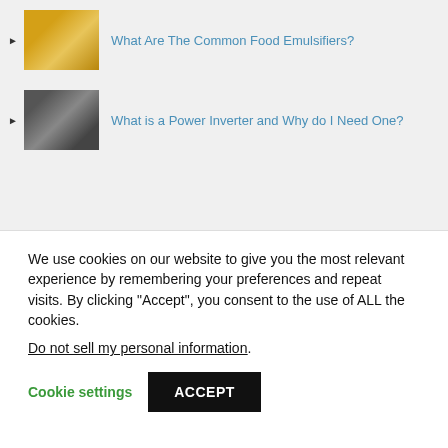What Are The Common Food Emulsifiers?
What is a Power Inverter and Why do I Need One?
We use cookies on our website to give you the most relevant experience by remembering your preferences and repeat visits. By clicking “Accept”, you consent to the use of ALL the cookies.
Do not sell my personal information.
Cookie settings   ACCEPT